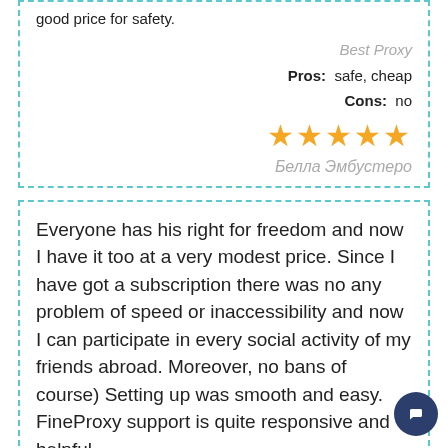good price for safety.
Best Proxy
Pros: safe, cheap
Cons: no
[Figure (other): 5 gold stars rating]
Белла Эмбустеро
Everyone has his right for freedom and now I have it too at a very modest price. Since I have got a subscription there was no any problem of speed or inaccessibility and now I can participate in every social activity of my friends abroad. Moreover, no bans of course) Setting up was smooth and easy. FineProxy support is quite responsive and helpful.
Private proxy
Pros: Price, hassle free